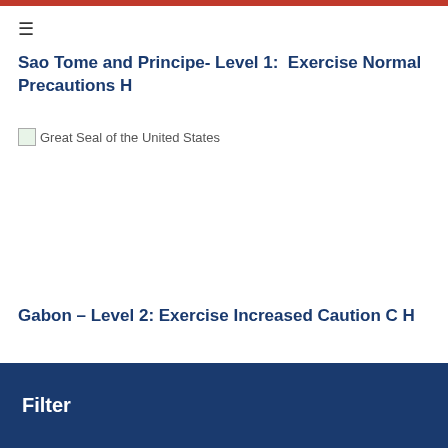Sao Tome and Principe- Level 1:  Exercise Normal Precautions H
[Figure (logo): Great Seal of the United States image placeholder]
Gabon – Level 2: Exercise Increased Caution C H
Filter